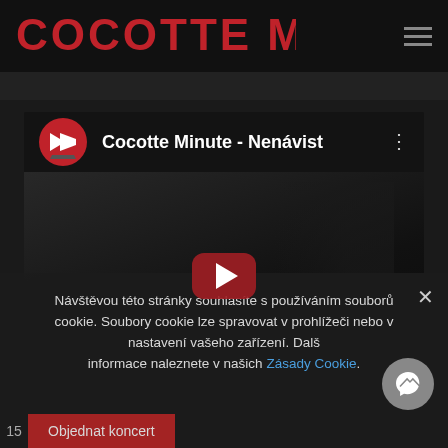COCOTTE MINUTE
[Figure (screenshot): YouTube embedded video player showing 'Cocotte Minute - Nenávist' with YouTube logo, video title, three-dot menu, and red play button over dark background]
Návštěvou této stránky souhlasíte s používáním souborů cookie. Soubory cookie lze spravovat v prohlížeči nebo v nastavení vašeho zařízení. Další informace nalezeznete v našich Zásady Cookie.
Objednat koncert